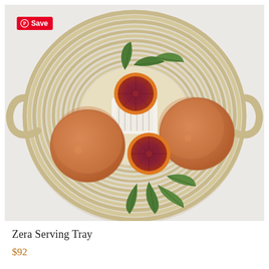[Figure (photo): Top-down photograph of a woven rattan/rope serving tray with handles, containing two glasses of blood orange juice and blood orange halves with green leaves, on a light gray background. A red Pinterest 'Save' button is visible in the top-left corner of the image.]
Zera Serving Tray
$92